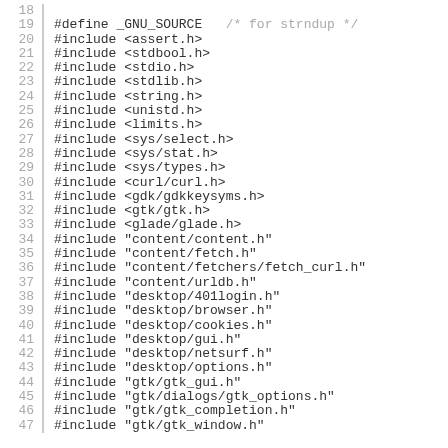Code listing lines 18-47: C source file includes
18
19 #define _GNU_SOURCE   /* for strndup */
20 #include <assert.h>
21 #include <stdbool.h>
22 #include <stdio.h>
23 #include <stdlib.h>
24 #include <string.h>
25 #include <unistd.h>
26 #include <limits.h>
27 #include <sys/select.h>
28 #include <sys/stat.h>
29 #include <sys/types.h>
30 #include <curl/curl.h>
31 #include <gdk/gdkkeysyms.h>
32 #include <gtk/gtk.h>
33 #include <glade/glade.h>
34 #include "content/content.h"
35 #include "content/fetch.h"
36 #include "content/fetchers/fetch_curl.h"
37 #include "content/urldb.h"
38 #include "desktop/401login.h"
39 #include "desktop/browser.h"
40 #include "desktop/cookies.h"
41 #include "desktop/gui.h"
42 #include "desktop/netsurf.h"
43 #include "desktop/options.h"
44 #include "gtk/gtk_gui.h"
45 #include "gtk/dialogs/gtk_options.h"
46 #include "gtk/gtk_completion.h"
47 #include "gtk/gtk_window.h"